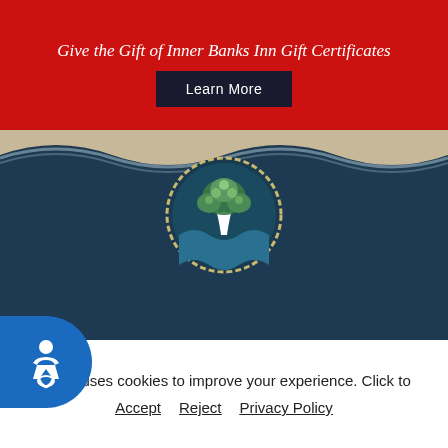Give the Gift of Inner Banks Inn Gift Certificates
Learn More
[Figure (logo): Inner Banks Inn circular logo with tree and water design, decorative rope border]
INNER BANKS INN
Where Southern Hospitality Meets Historic Charm
103 East Albemarle Street Edenton, NC 27932
(252) 482-3641
www.InnerBanksInn.com
hello@innerbanksinn.com
Reservations
ebsite uses cookies to improve your experience. Click to
Accept   Reject   Privacy Policy